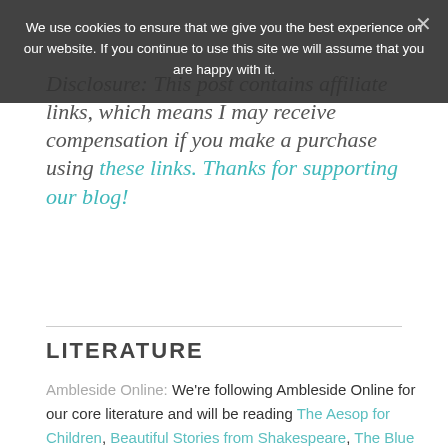We use cookies to ensure that we give you the best experience on our website. If you continue to use this site we will assume that you are happy with it.
Disclosure: This post contains affiliate links, which means I may receive compensation if you make a purchase using these links. Thanks for supporting our blog!
LITERATURE
Ambleside Online: We're following Ambleside Online for our core literature and will be reading The Aesop for Children, Beautiful Stories from Shakespeare, The Blue Fairy and Just So Stories.